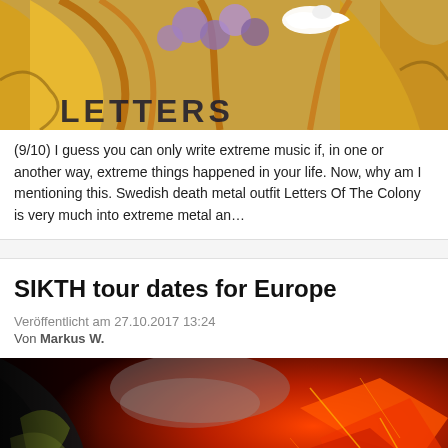[Figure (illustration): Colorful comic/illustration artwork with flowers and birds, text 'LETTERS' partially visible at bottom]
(9/10) I guess you can only write extreme music if, in one or another way, extreme things happened in your life. Now, why am I mentioning this. Swedish death metal outfit Letters Of The Colony is very much into extreme metal an…
SIKTH tour dates for Europe
Veröffentlicht am 27.10.2017 13:24
Von Markus W.
[Figure (photo): Dark dramatic photo with red and orange tones showing abstract metallic or creature-like imagery]